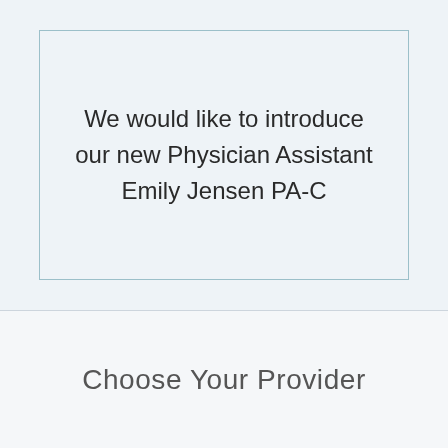We would like to introduce our new Physician Assistant Emily Jensen PA-C
Choose Your Provider